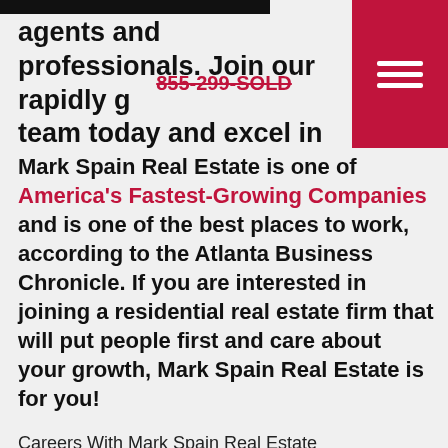agents and professionals. Join our rapidly g... team today and excel in your real estate car...
Mark Spain Real Estate is one of America's Fastest-Growing Companies and is one of the best places to work, according to the Atlanta Business Chronicle. If you are interested in joining a residential real estate firm that will put people first and care about your growth, Mark Spain Real Estate is for you!
Careers With Mark Spain Real Estate
About Mark Spain Real Estate
Mark Spain Real Estate was founded by Georgia native, Mark Spain, and has served the real estate industry for over 25 years. Mark Spain Real Estate is